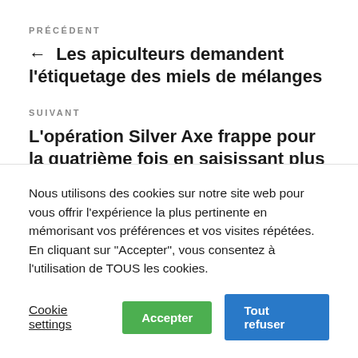PRÉCÉDENT
← Les apiculteurs demandent l'étiquetage des miels de mélanges
SUIVANT
L'opération Silver Axe frappe pour la quatrième fois en saisissant plus de 550 tonnes de pesticides illégaux →
Nous utilisons des cookies sur notre site web pour vous offrir l'expérience la plus pertinente en mémorisant vos préférences et vos visites répétées. En cliquant sur "Accepter", vous consentez à l'utilisation de TOUS les cookies.
Cookie settings | Accepter | Tout refuser